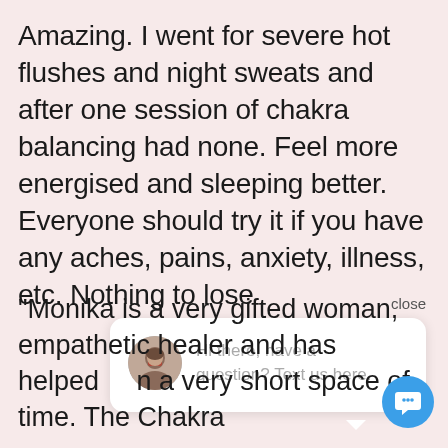Amazing. I went for severe hot flushes and night sweats and after one session of chakra balancing had none. Feel more energised and sleeping better. Everyone should try it if you have any aches, pains, anxiety, illness, etc. Nothing to lose
close
[Figure (screenshot): Chat widget popup with avatar photo of a woman and text: Hi there, have a question? Text us here.]
"Monika is a very gifted woman, empathetic healer and has helped in a very short space of time. The Chakra